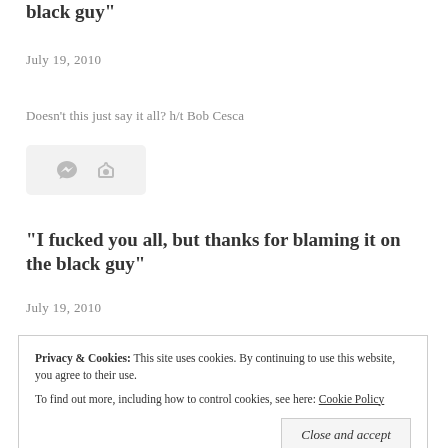black guy"
July 19, 2010
Doesn't this just say it all? h/t Bob Cesca
[Figure (other): Icon box with comment and link icons]
"I fucked you all, but thanks for blaming it on the black guy"
July 19, 2010
Privacy & Cookies: This site uses cookies. By continuing to use this website, you agree to their use. To find out more, including how to control cookies, see here: Cookie Policy
Close and accept